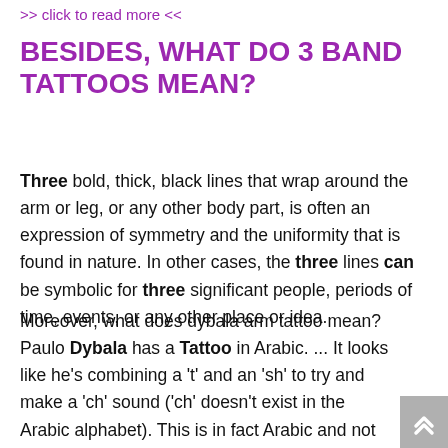>> click to read more <<
BESIDES, WHAT DO 3 BAND TATTOOS MEAN?
Three bold, thick, black lines that wrap around the arm or leg, or any other body part, is often an expression of symmetry and the uniformity that is found in nature. In other cases, the three lines can be symbolic for three significant people, periods of time, events, or any other place or idea.
Moreover, what does dybala arm tattoo mean? Paulo Dybala has a Tattoo in Arabic. ... It looks like he's combining a 't' and an 'sh' to try and make a 'ch' sound ('ch' doesn't exist in the Arabic alphabet). This is in fact Arabic and not